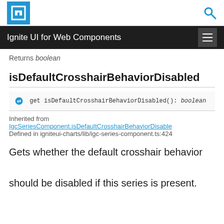Ignite UI for Web Components
Returns boolean
isDefaultCrosshairBehaviorDisabled
get isDefaultCrosshairBehaviorDisabled(): boolean
Inherited from
IgcSeriesComponent.isDefaultCrosshairBehaviorDisabled
Defined in igniteui-charts/lib/igc-series-component.ts:424
Gets whether the default crosshair behavior should be disabled if this series is present.